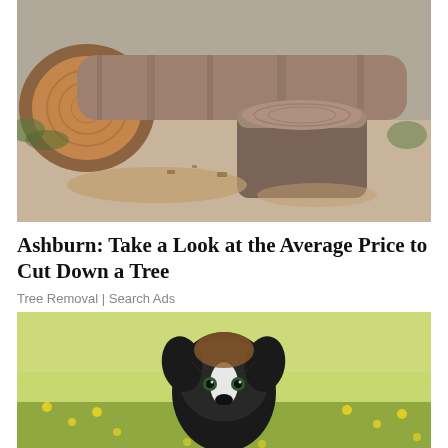[Figure (photo): A felled tree trunk with a fresh cross-section cut face showing wood grain, lying next to a large tree stump on sandy ground with scattered wood chips and sparse green foliage.]
Ashburn: Take a Look at the Average Price to Cut Down a Tree
Tree Removal | Search Ads
[Figure (photo): A black and white border collie dog sitting in a green field with yellow wildflowers, looking directly at the camera.]